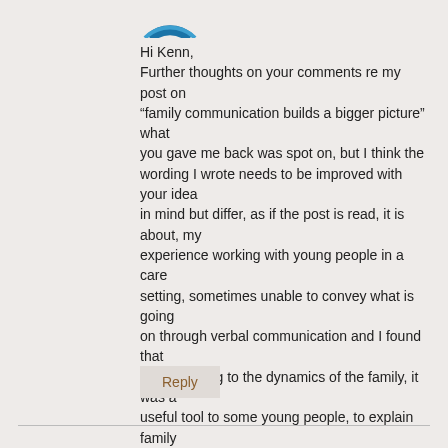[Figure (logo): Partial blue circular avatar/logo icon at top]
Hi Kenn,
Further thoughts on your comments re my post on “family communication builds a bigger picture” what you gave me back was spot on, but I think the wording I wrote needs to be improved with your idea in mind but differ, as if the post is read, it is about, my experience working with young people in a care setting, sometimes unable to convey what is going on through verbal communication and I found that when relating to the dynamics of the family, it was a useful tool to some young people, to explain family links by compiling a family tree to draw in how strong the relationships was and explain via picture presentation. My experience sharing, reason for that headline.
Reply